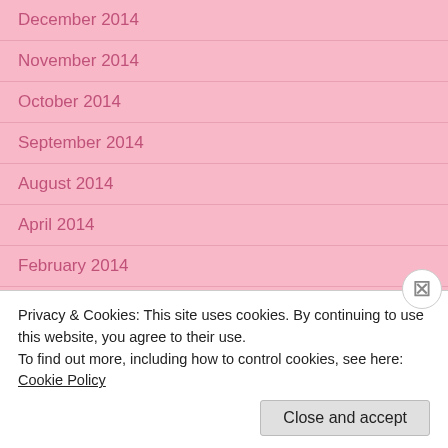December 2014
November 2014
October 2014
September 2014
August 2014
April 2014
February 2014
January 2014
September 2013
July 2013
June 2013
Privacy & Cookies: This site uses cookies. By continuing to use this website, you agree to their use.
To find out more, including how to control cookies, see here: Cookie Policy
Close and accept